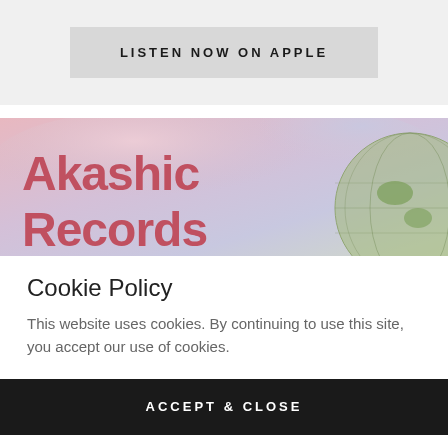[Figure (screenshot): Grey button with bold uppercase text 'LISTEN NOW ON APPLE']
[Figure (illustration): Akashic Records banner image with pink/lavender watercolor background and bold red-pink text 'Akashic Records', with a partial globe on the right side]
Cookie Policy
This website uses cookies. By continuing to use this site, you accept our use of cookies.
[Figure (screenshot): Dark button with bold uppercase text 'ACCEPT & CLOSE']